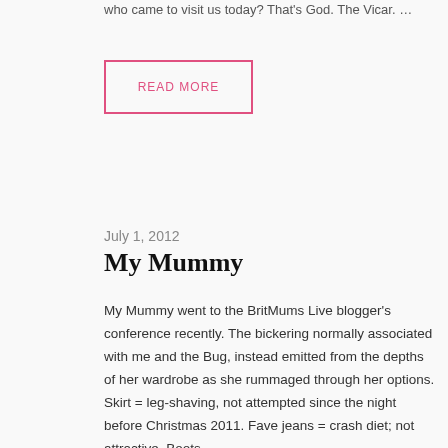who came to visit us today? That's God. The Vicar. …
READ MORE
July 1, 2012
My Mummy
My Mummy went to the BritMums Live blogger's conference recently. The bickering normally associated with me and the Bug, instead emitted from the depths of her wardrobe as she rummaged through her options. Skirt = leg-shaving, not attempted since the night before Christmas 2011. Fave jeans = crash diet; not attractive. Boots …